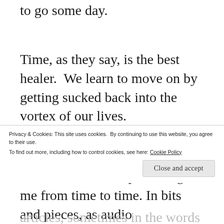to go some day.
Time, as they say, is the best healer.  We learn to move on by getting sucked back into the vortex of our lives.
But memories of my Dad tug at me from time to time. In bits and pieces, as audio
Privacy & Cookies: This site uses cookies.  By continuing to use this website, you agree to their use.
To find out more, including how to control cookies, see here: Cookie Policy
Close and accept
articles, sometimes in the words of another